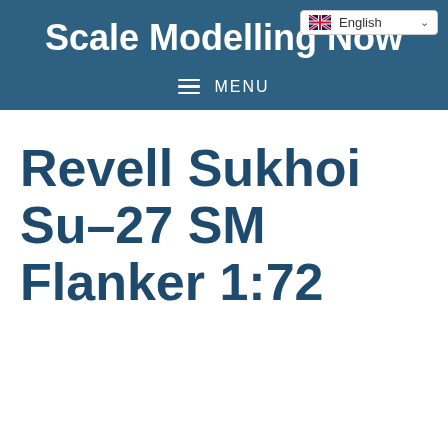Scale Modelling Now
[Figure (other): Language selector dropdown showing UK flag and 'English' with dropdown arrow]
MENU
Revell Sukhoi Su-27 SM Flanker 1:72